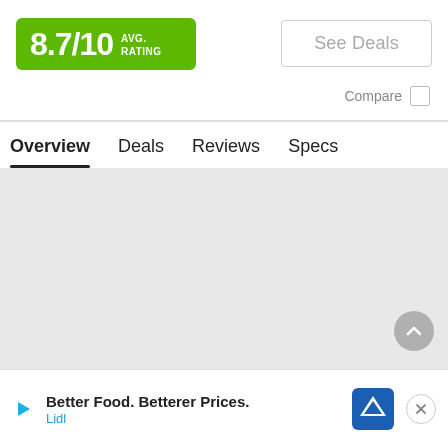[Figure (infographic): Green rating badge showing 8.7/10 AVG. RATING]
See Deals
Compare
Overview  Deals  Reviews  Specs
[Figure (other): Light gray content area placeholder with scroll-up button]
Better Food. Betterer Prices. Lidl